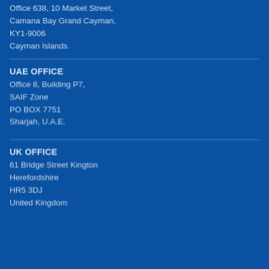Office 638, 10 Market Street,
Camana Bay Grand Cayman,
KY1-9006
Cayman Islands
UAE OFFICE
Office 8, Building P7,
SAIF Zone
PO BOX 7751
Sharjah, U.A.E.
UK OFFICE
61 Bridge Street Kington
Herefordshire
HR5 3DJ
United Kingdom